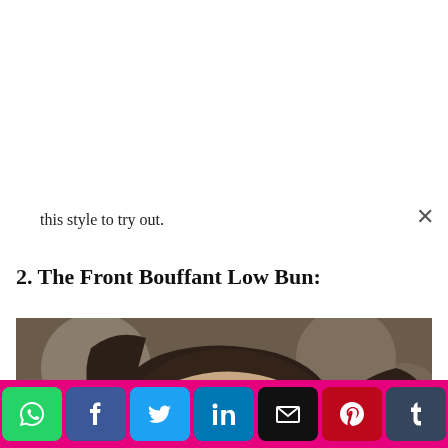this style to try out.
2. The Front Bouffant Low Bun:
[Figure (photo): Close-up portrait of a young woman with dark hair styled in a smooth updo/low bun with a bouffant front, wearing eye makeup, photographed at an event.]
Social share buttons: WhatsApp, Facebook, Twitter, LinkedIn, Email, Pinterest, Tumblr